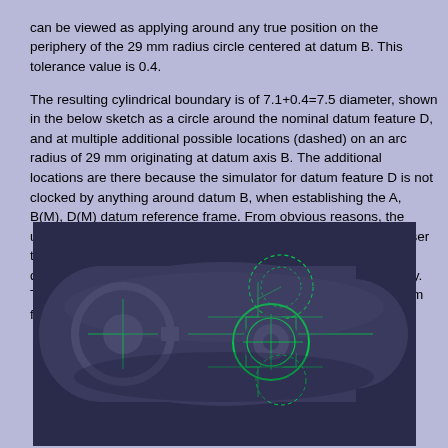can be viewed as applying around any true position on the periphery of the 29 mm radius circle centered at datum B. This tolerance value is 0.4.
The resulting cylindrical boundary is of 7.1+0.4=7.5 diameter, shown in the below sketch as a circle around the nominal datum feature D, and at multiple additional possible locations (dashed) on an arc radius of 29 mm originating at datum axis B. The additional locations are there because the simulator for datum feature D is not clocked by anything around datum B, when establishing the A, B(M), D(M) datum reference frame. From obvious reasons, the useful additional locations for a compatible part will be much closer to the nominal location of datum feature D in a fully constrained datum reference frame and not as shown here for illustration only. This solution is in accordance with the requirement that the datum feature simulator is of the inverse shape of the datum feature.
[Figure (engineering-diagram): A 3D CAD sketch showing a part with datum features. The dark navy/purple part has a rounded rectangular shape. On the left is a circular feature (datum B area) with crosshairs. On the right side, green circles and arcs show the cylindrical boundary of diameter 7.5 around the nominal datum feature D location, plus additional dashed green circles showing alternative positions on the 29 mm arc radius. Green construction lines and squares are visible around the feature D area.]